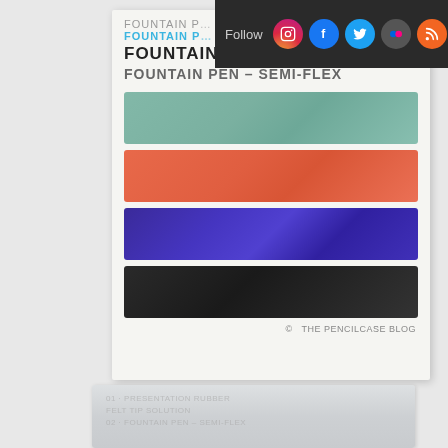[Figure (screenshot): Social media follow bar with Instagram, Facebook, Twitter, Flickr, and RSS icons on dark background with 'Follow' label]
[Figure (photo): Fountain pen ink swatch card showing four colored ink swatches (teal/green, orange, blue-purple, black) with text labels 'FOUNTAIN PEN - BROAD' and 'FOUNTAIN PEN - SEMI-FLEX', watermarked 'THE PENCILCASE BLOG']
[Figure (photo): Partial view of a white card or paper with faint text, partially visible at the bottom of the page]